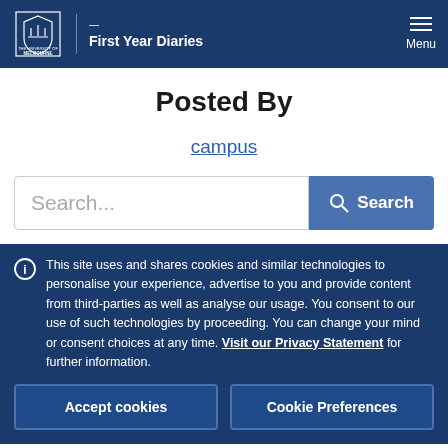First Year Diaries
Posted By
campus
Search...
This site uses and shares cookies and similar technologies to personalise your experience, advertise to you and provide content from third-parties as well as analyse our usage. You consent to our use of such technologies by proceeding. You can change your mind or consent choices at any time. Visit our Privacy Statement for further information.
Accept cookies
Cookie Preferences